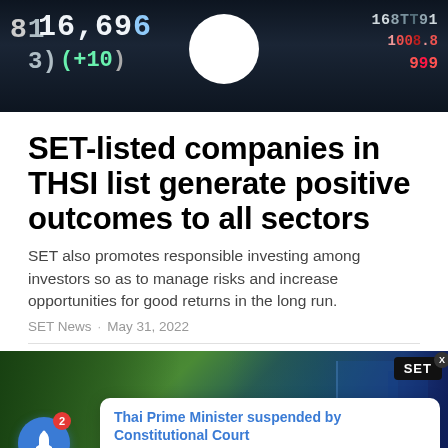[Figure (photo): Stock market display board showing numbers including 16,696 and (+10) with green and red indicators on dark background]
SET-listed companies in THSI list generate positive outcomes to all sectors
SET also promotes responsible investing among investors so as to manage risks and increase opportunities for good returns in the long run.
SET News · May 31, 2022
[Figure (photo): Street scene with palm trees and buildings, with a notification popup overlay showing 'Thai Prime Minister suspended by Constitutional Court - 11 hours ago' and a blue SET badge and bell notification icon]
Thai Prime Minister suspended by Constitutional Court
11 hours ago